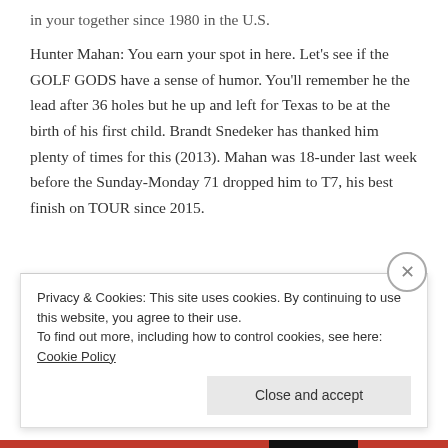Hunter Mahan: You earn your spot in here. Let's see if the GOLF GODS have a sense of humor. You'll remember he the lead after 36 holes but he up and left for Texas to be at the birth of his first child. Brandt Snedeker has thanked him plenty of times for this (2013). Mahan was 18-under last week before the Sunday-Monday 71 dropped him to T7, his best finish on TOUR since 2015.
Privacy & Cookies: This site uses cookies. By continuing to use this website, you agree to their use. To find out more, including how to control cookies, see here: Cookie Policy
Close and accept